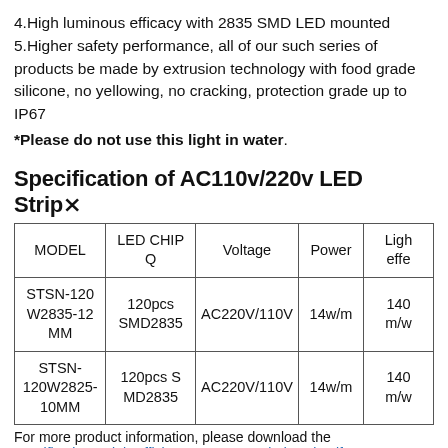4.High luminous efficacy with 2835 SMD LED mounted
5.Higher safety performance, all of our such series of products be made by extrusion technology with food grade silicone, no yellowing, no cracking, protection grade up to IP67
*Please do not use this light in water.
Specification of AC110v/220v LED Strip›
| MODEL | LED CHIP Q | Voltage | Power | Light effe… |
| --- | --- | --- | --- | --- |
| STSN-120 W2835-12 MM | 120pcs SMD2835 | AC220V/110V | 14w/m | 140 m/w |
| STSN-120W2825-10MM | 120pcs S MD2835 | AC220V/110V | 14w/m | 140 m/w |
For more product information, please download the specifications… High Efficiency DC12v 120leds strip elf…